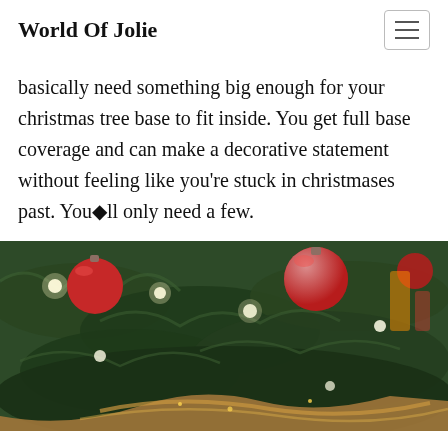World Of Jolie
basically need something big enough for your christmas tree base to fit inside. You get full base coverage and can make a decorative statement without feeling like you're stuck in christmases past. You�ll only need a few.
[Figure (photo): Close-up photo of a decorated Christmas tree with red ornament balls, green pine branches, fairy lights, and a gold ribbon near the base.]